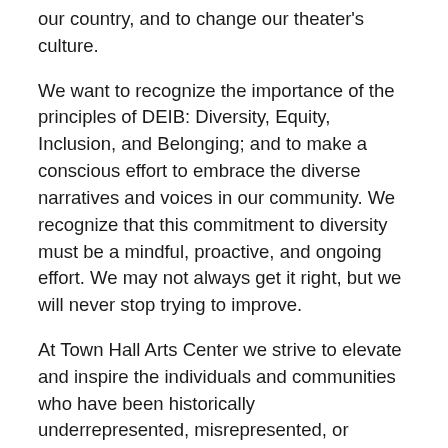our country, and to change our theater's culture.
We want to recognize the importance of the principles of DEIB: Diversity, Equity, Inclusion, and Belonging; and to make a conscious effort to embrace the diverse narratives and voices in our community. We recognize that this commitment to diversity must be a mindful, proactive, and ongoing effort. We may not always get it right, but we will never stop trying to improve.
At Town Hall Arts Center we strive to elevate and inspire the individuals and communities who have been historically underrepresented, misrepresented, or excluded from our field. We will focus our efforts on connecting and building meaningful relationships across all cultures. We believe that together we can begin to make this change and reach higher levels because of our diversity.